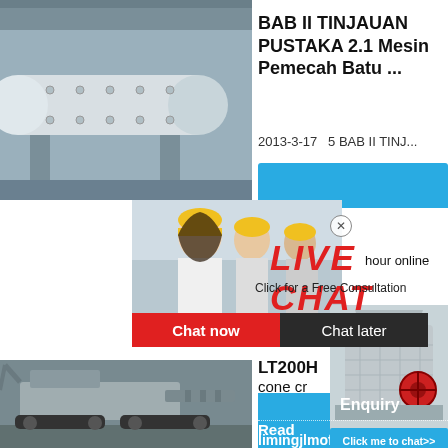[Figure (photo): Industrial ball mill machine in a factory setting, large cylindrical grey vessel with bolts]
BAB II TINJAUAN PUSTAKA 2.1 Mesin Pemecah Batu ...
2013-3-17   5 BAB II TINJ...
[Figure (photo): Live chat overlay with workers in yellow hard hats smiling, LIVE CHAT text in red italic, 'Click for a Free Consultation' subtitle, Chat now (red) and Chat later (dark) buttons, close button, hour online text, crusher machine image, Click me to chat>> blue button]
[Figure (photo): Heavy construction crawler machine / paver on ground]
LT200H cone cr
Lokotrack
Enquiry
Read
limingjlmofen